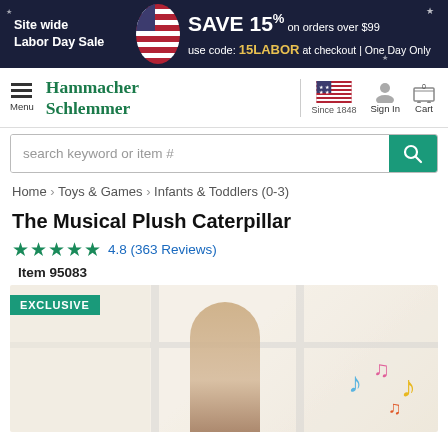Site wide Labor Day Sale — SAVE 15% on orders over $99 use code: 15LABOR at checkout | One Day Only
[Figure (logo): Hammacher Schlemmer logo with US flag and Since 1848 text, menu, sign in, and cart icons]
search keyword or item #
Home > Toys & Games > Infants & Toddlers (0-3)
The Musical Plush Caterpillar
★★★★★ 4.8 (363 Reviews)
Item 95083
[Figure (photo): Product photo showing a young child with colorful musical notes, with an EXCLUSIVE badge in the top-left corner]